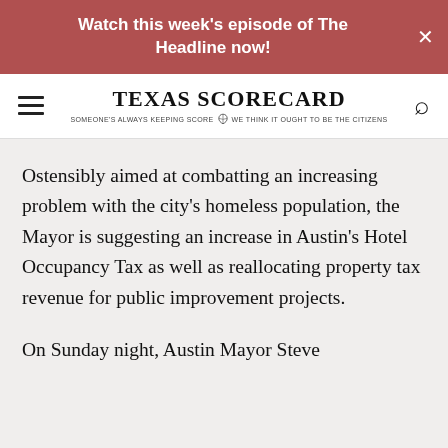Watch this week's episode of The Headline now!
[Figure (logo): Texas Scorecard logo with hamburger menu and search icon. Tagline: SOMEONE'S ALWAYS KEEPING SCORE — WE THINK IT OUGHT TO BE THE CITIZENS]
Ostensibly aimed at combatting an increasing problem with the city's homeless population, the Mayor is suggesting an increase in Austin's Hotel Occupancy Tax as well as reallocating property tax revenue for public improvement projects.
On Sunday night, Austin Mayor Steve